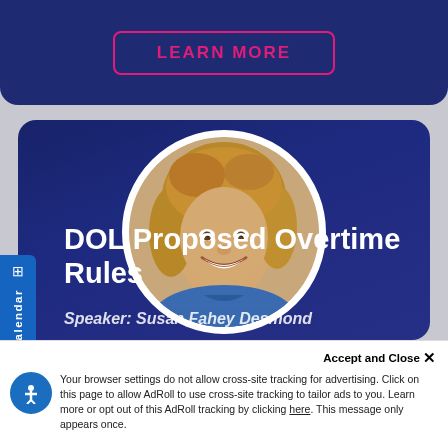LEARN MORE
[Figure (photo): Circular portrait photo of a smiling woman with blonde/light brown hair wearing a blue shirt, displayed in a white-bordered circle on a dark navy blue card background]
DOL Proposed Overtime Rules
Speaker: Susan Fahey Desmond
Accept and Close ✕
Your browser settings do not allow cross-site tracking for advertising. Click on this page to allow AdRoll to use cross-site tracking to tailor ads to you. Learn more or opt out of this AdRoll tracking by clicking here. This message only appears once.